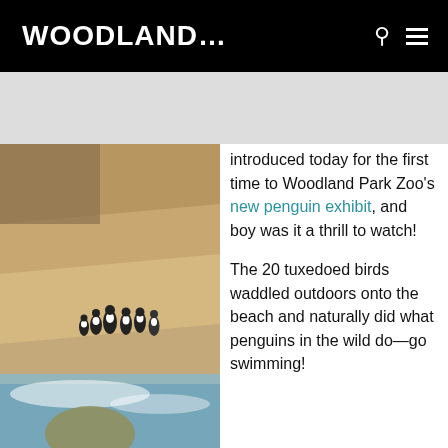WOODLAND...
[Figure (photo): Penguins on a rocky beach with water, at Woodland Park Zoo's new penguin exhibit]
introduced today for the first time to Woodland Park Zoo's new penguin exhibit, and boy was it a thrill to watch!
The 20 tuxedoed birds waddled outdoors onto the beach and naturally did what penguins in the wild do—go swimming!
Up until today, the penguins (10 males and 10 females)